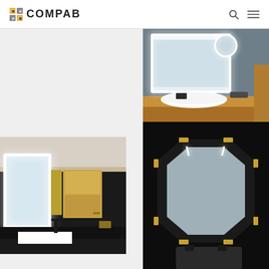COMPAB
[Figure (photo): Bathroom with illuminated rectangular mirror with circular magnifying mirror, white vessel sink on wooden shelf, dark grey wall]
[Figure (photo): Dark bathroom with illuminated rectangular mirror, gold/brass cabinet, black faucet and sink on black wall]
[Figure (photo): Octagonal mirror with gold corner brackets mounted on black background]